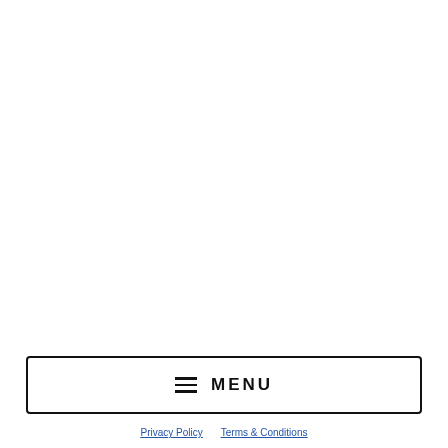USD $
≡ MENU
Privacy Policy    Terms & Conditions